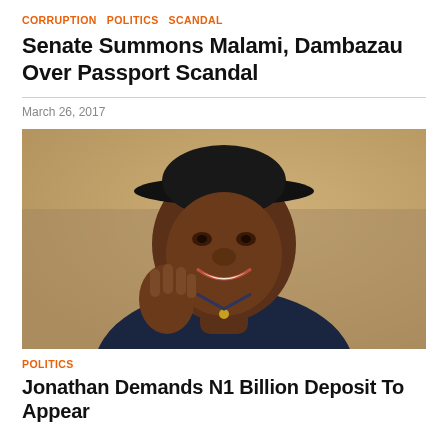CORRUPTION  POLITICS  SCANDAL
Senate Summons Malami, Dambazau Over Passport Scandal
March 26, 2017
[Figure (photo): Portrait photo of a smiling man wearing a black hat and dark blue traditional attire, raising his right hand]
POLITICS
Jonathan Demands N1 Billion Deposit To Appear In...